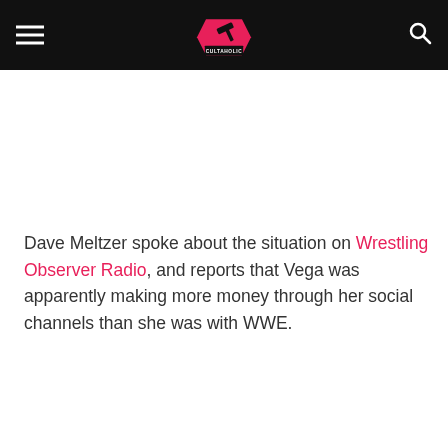Cultaholic
Dave Meltzer spoke about the situation on Wrestling Observer Radio, and reports that Vega was apparently making more money through her social channels than she was with WWE.